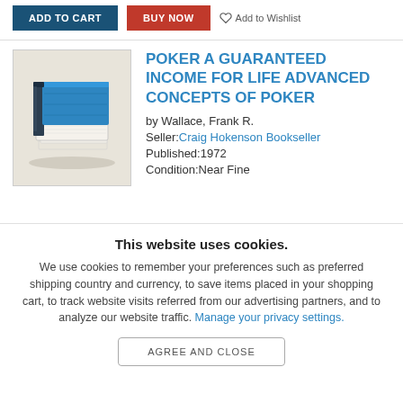ADD TO CART | BUY NOW | Add to Wishlist
[Figure (illustration): Book cover illustration showing a stack of books with a blue cover on top]
POKER A GUARANTEED INCOME FOR LIFE ADVANCED CONCEPTS OF POKER
by Wallace, Frank R.
Seller: Craig Hokenson Bookseller
Published: 1972
Condition: Near Fine
This website uses cookies.
We use cookies to remember your preferences such as preferred shipping country and currency, to save items placed in your shopping cart, to track website visits referred from our advertising partners, and to analyze our website traffic. Manage your privacy settings.
AGREE AND CLOSE